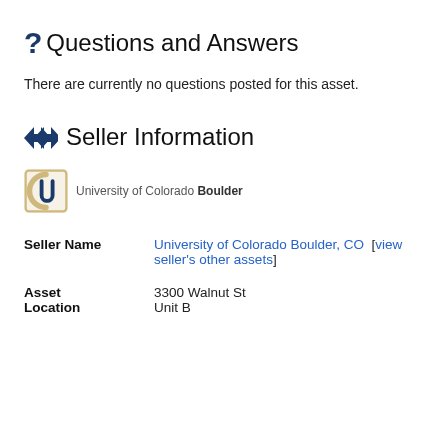? Questions and Answers
There are currently no questions posted for this asset.
>> Seller Information
[Figure (logo): University of Colorado Boulder logo with CU emblem and text 'University of Colorado Boulder']
| Field | Value |
| --- | --- |
| Seller Name | University of Colorado Boulder, CO  [view seller's other assets] |
| Asset Location | 3300 Walnut St
Unit B |